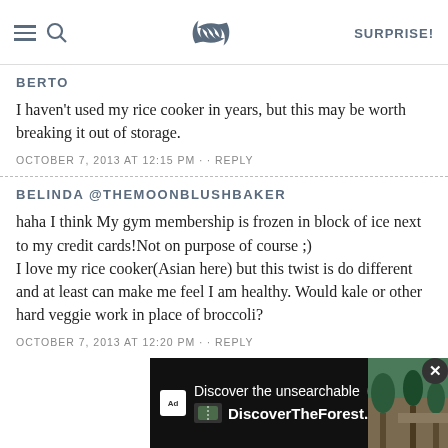SK — SURPRISE!
BERTO
I haven't used my rice cooker in years, but this may be worth breaking it out of storage.
OCTOBER 7, 2013 AT 12:15 PM · · REPLY
BELINDA @THEMOONBLUSHBAKER
haha I think My gym membership is frozen in block of ice next to my credit cards!Not on purpose of course ;)
I love my rice cooker(Asian here) but this twist is do different and at least can make me feel I am healthy. Would kale or other hard veggie work in place of broccoli?
OCTOBER 7, 2013 AT 12:20 PM · · REPLY
ANDRE
After two (one
[Figure (screenshot): Advertisement overlay: 'Discover the unsearchable — DiscoverTheForest.org' with forest photo and close button]